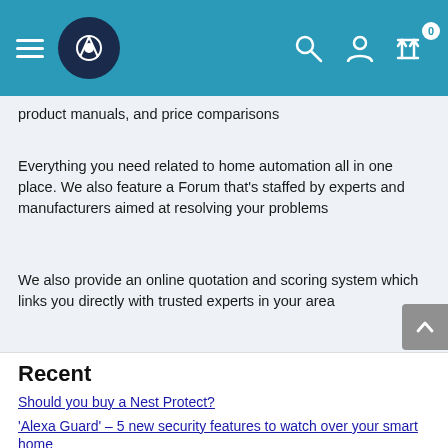Navigation bar with hamburger menu, home automation logo, search icon, user icon, and compare icon with badge 0
product manuals, and price comparisons
Everything you need related to home automation all in one place. We also feature a Forum that's staffed by experts and manufacturers aimed at resolving your problems
We also provide an online quotation and scoring system which links you directly with trusted experts in your area
Recent
Should you buy a Nest Protect?
'Alexa Guard' – 5 new security features to watch over your smart home